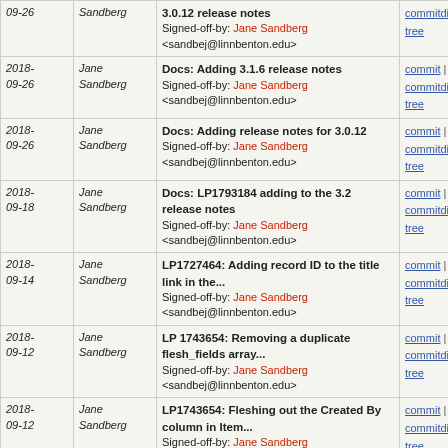| Date | Author | Message | Links |
| --- | --- | --- | --- |
| 2018-09-26 | Jane Sandberg | Docs: Adding 3.0.12 release notes
Signed-off-by: Jane Sandberg <sandbej@linnbenton.edu> | commit | commitdiff | tree |
| 2018-09-26 | Jane Sandberg | Docs: Adding 3.1.6 release notes
Signed-off-by: Jane Sandberg <sandbej@linnbenton.edu> | commit | commitdiff | tree |
| 2018-09-26 | Jane Sandberg | Docs: Adding release notes for 3.0.12
Signed-off-by: Jane Sandberg <sandbej@linnbenton.edu> | commit | commitdiff | tree |
| 2018-09-18 | Jane Sandberg | Docs: LP1793184 adding to the 3.2 release notes
Signed-off-by: Jane Sandberg <sandbej@linnbenton.edu> | commit | commitdiff | tree |
| 2018-09-14 | Jane Sandberg | LP1727464: Adding record ID to the title link in the...
Signed-off-by: Jane Sandberg <sandbej@linnbenton.edu> | commit | commitdiff | tree |
| 2018-09-12 | Jane Sandberg | LP 1743654: Removing a duplicate flesh_fields array...
Signed-off-by: Jane Sandberg <sandbej@linnbenton.edu> | commit | commitdiff | tree |
| 2018-09-12 | Jane Sandberg | LP1743654: Fleshing out the Created By column in Item...
Signed-off-by: Jane Sandberg <sandbej@linnbenton.edu> | commit | commitdiff | tree |
| 2018-09-12 | Jane Sandberg | LP1775640: Adds deposit columns to Item Status and... | commit | commitdiff | tree |